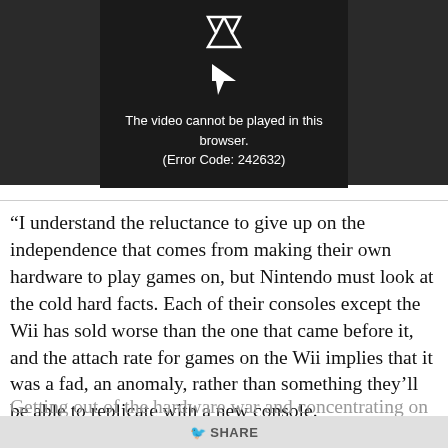[Figure (screenshot): Video player showing error: 'The video cannot be played in this browser. (Error Code: 242632)' on dark background with play icon]
“I understand the reluctance to give up on the independence that comes from making their own hardware to play games on, but Nintendo must look at the cold hard facts. Each of their consoles except the Wii has sold worse than the one that came before it, and the attach rate for games on the Wii implies that it was a fad, an anomaly, rather than something they’ll be able to replicate with a new console.
Getting out of the hardware war and concentrating on games alone effectively removes all of the barriers